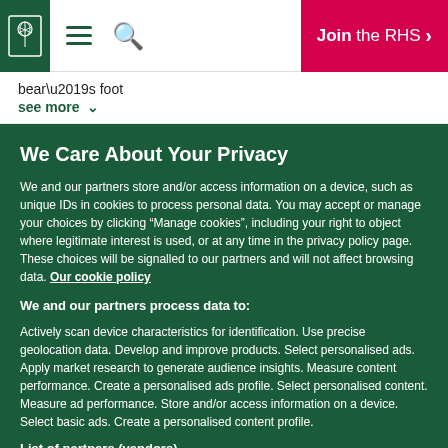RHS header with logo, hamburger menu, search icon, and Join the RHS button
bear’s foot
see more ⌄
We Care About Your Privacy
We and our partners store and/or access information on a device, such as unique IDs in cookies to process personal data. You may accept or manage your choices by clicking “Manage cookies”, including your right to object where legitimate interest is used, or at any time in the privacy policy page. These choices will be signalled to our partners and will not affect browsing data. Our cookie policy
We and our partners process data to:
Actively scan device characteristics for identification. Use precise geolocation data. Develop and improve products. Select personalised ads. Apply market research to generate audience insights. Measure content performance. Create a personalised ads profile. Select personalised content. Measure ad performance. Store and/or access information on a device. Select basic ads. Create a personalised content profile.
List of partners (vendors)